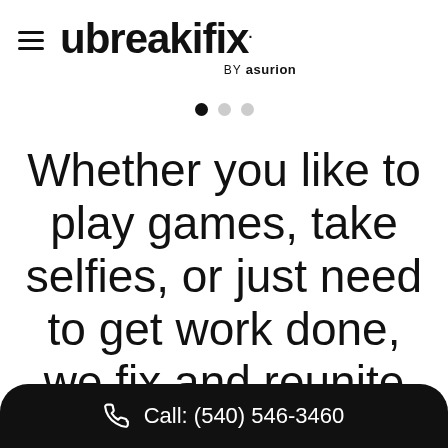≡ ubreakifix. BY asurion
[Figure (other): Carousel navigation dots — three dots, first one active (black), second and third grey]
Whether you like to play games, take selfies, or just need to get work done, we fix and reunite you with your device. We put our customers
Call: (540) 546-3460